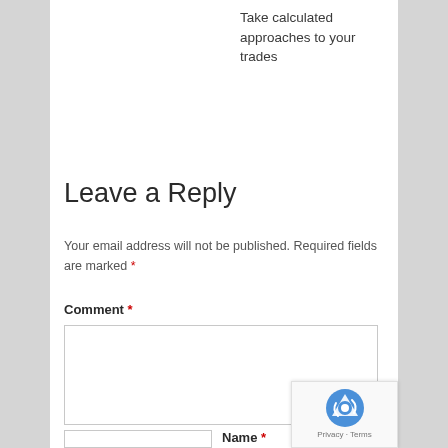Take calculated approaches to your trades
Leave a Reply
Your email address will not be published. Required fields are marked *
Comment *
Name *